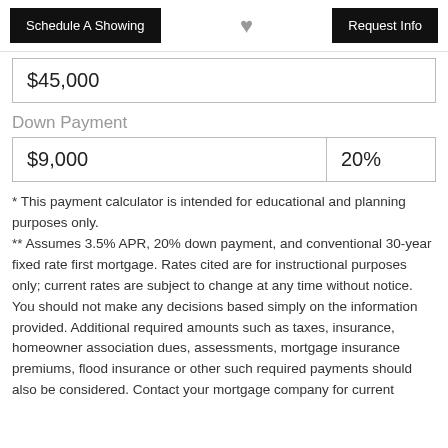Schedule A Showing | [heart] | Request Info
| $45,000 |
Down Payment
| $9,000 | 20% |
* This payment calculator is intended for educational and planning purposes only.
** Assumes 3.5% APR, 20% down payment, and conventional 30-year fixed rate first mortgage. Rates cited are for instructional purposes only; current rates are subject to change at any time without notice. You should not make any decisions based simply on the information provided. Additional required amounts such as taxes, insurance, homeowner association dues, assessments, mortgage insurance premiums, flood insurance or other such required payments should also be considered. Contact your mortgage company for current